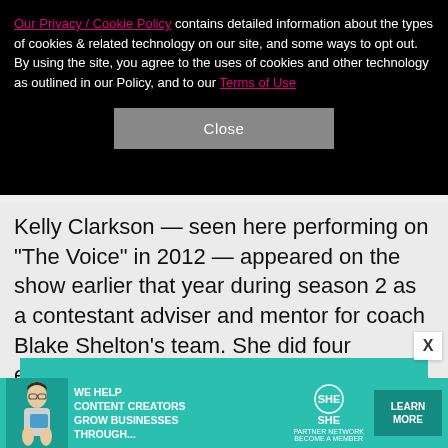Our Privacy / Cookie Policy contains detailed information about the types of cookies & related technology on our site, and some ways to opt out. By using the site, you agree to the uses of cookies and other technology as outlined in our Policy, and to our Terms of Use
Close
Kelly Clarkson — seen here performing on "The Voice" in 2012 — appeared on the show earlier that year during season 2 as a contestant adviser and mentor for coach Blake Shelton's team. She did four episodes of the series during her "Stronger" tour run to support her successful fifth studio album of the same name. But she'd soon be back for much more…
[Figure (infographic): Advertisement banner: SHE Partner Network - We help content creators grow businesses through... Learn More]